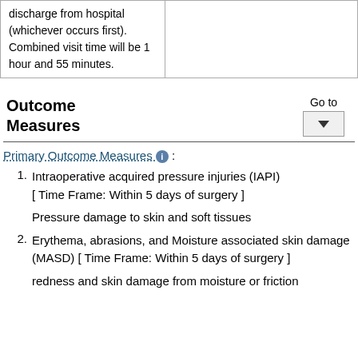|  |  |
| --- | --- |
| discharge from hospital (whichever occurs first). Combined visit time will be 1 hour and 55 minutes. |  |
Outcome Measures
Primary Outcome Measures ℹ :
1. Intraoperative acquired pressure injuries (IAPI) [ Time Frame: Within 5 days of surgery ] Pressure damage to skin and soft tissues
2. Erythema, abrasions, and Moisture associated skin damage (MASD) [ Time Frame: Within 5 days of surgery ] redness and skin damage from moisture or friction